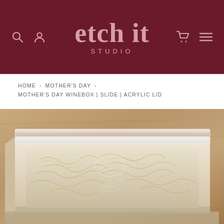[Figure (logo): Etch It Studio logo in pink/mauve text on dark maroon/wine colored header background, with search and account icons on the left and cart and menu icons on the right]
HOME > MOTHER'S DAY > MOTHER'S DAY WINEBOX | SLIDE | ACRYLIC LID
[Figure (photo): A wooden slide-top wine box with an acrylic lid, partially open, revealing a wine glass etched with 'Mummy Wine' surrounded by decorative floral engraving, nestled in wood shavings/straw on a wooden surface]